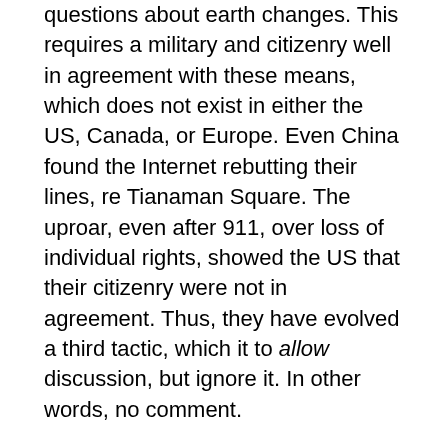questions about earth changes. This requires a military and citizenry well in agreement with these means, which does not exist in either the US, Canada, or Europe. Even China found the Internet rebutting their lines, re Tianaman Square. The uproar, even after 911, over loss of individual rights, showed the US that their citizenry were not in agreement. Thus, they have evolved a third tactic, which it to allow discussion, but ignore it. In other words, no comment.
In Europe, there is likely to be more open discussion of the matter, as in the UK the Planet X issue re-emerged recently. Britain is also resentful of the US, and the European Community resentful of both. Thus, each country is likely to respond individually, depending on the public and administrators. Where the country might fare well, there may be open forums on plans as to what to do, in case. In countries where there will be devastation, such as in India, no discussion will occur. In countries